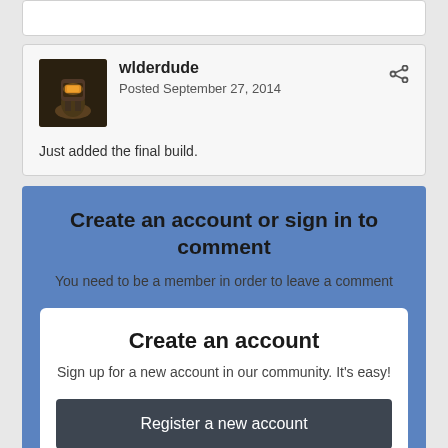[Figure (other): Partial white card at top of page, cropped]
wlderdude
Posted September 27, 2014
Just added the final build.
Create an account or sign in to comment
You need to be a member in order to leave a comment
Create an account
Sign up for a new account in our community. It's easy!
Register a new account